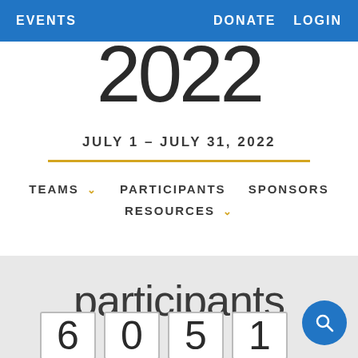EVENTS   DONATE   LOGIN
2022
JULY 1 - JULY 31, 2022
TEAMS  PARTICIPANTS  SPONSORS  RESOURCES
participants
6051